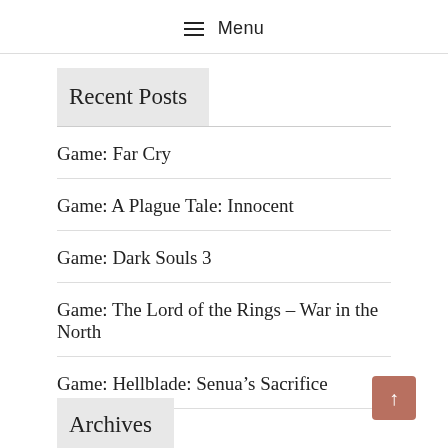☰ Menu
Recent Posts
Game: Far Cry
Game: A Plague Tale: Innocent
Game: Dark Souls 3
Game: The Lord of the Rings – War in the North
Game: Hellblade: Senua's Sacrifice
Archives